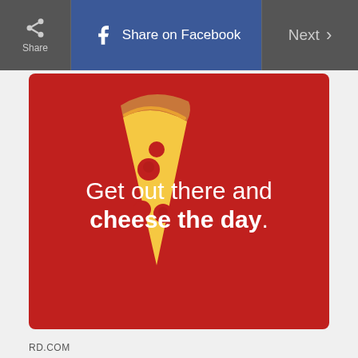[Figure (screenshot): Web browser UI toolbar with Share button, Share on Facebook button (blue), and Next button on dark gray background]
[Figure (illustration): Red card/image with a pizza slice emoji illustration and white text reading 'Get out there and cheese the day.']
RD.COM